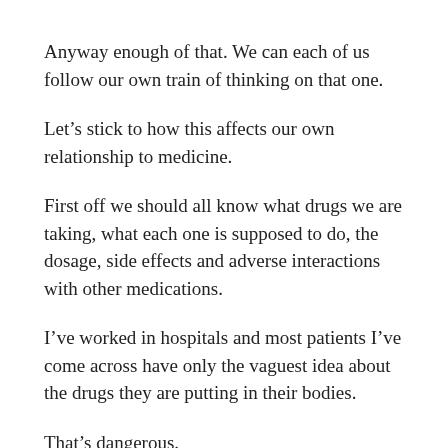Anyway enough of that. We can each of us follow our own train of thinking on that one.
Let’s stick to how this affects our own relationship to medicine.
First off we should all know what drugs we are taking, what each one is supposed to do, the dosage, side effects and adverse interactions with other medications.
I’ve worked in hospitals and most patients I’ve come across have only the vaguest idea about the drugs they are putting in their bodies.
That’s dangerous.
There are many websites for drugs but drugs.com is the one I use.